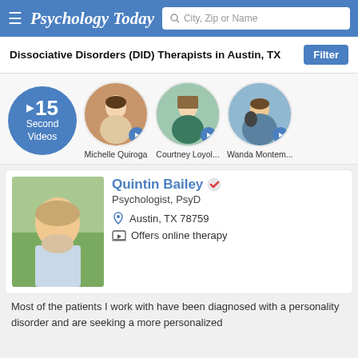Psychology Today — City, Zip or Name search
Dissociative Disorders (DID) Therapists in Austin, TX
[Figure (screenshot): 15-second therapist video previews row showing three circular therapist photos with play buttons: Michelle Quiroga, Courtney Loyol..., Wanda Montem...]
[Figure (photo): Circular blue badge reading '▶ 15 Second Videos']
Quintin Bailey, Psychologist, PsyD — Austin, TX 78759 — Offers online therapy
Most of the patients I work with have been diagnosed with a personality disorder and are seeking a more personalized